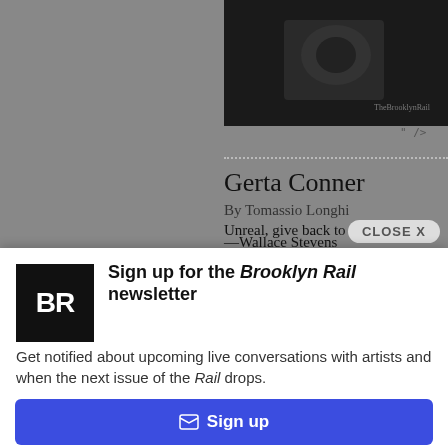[Figure (photo): Dark/black and white photograph partially visible at top right]
" />
Gerta Conner
By Tomassio Longhi
Unreal, give back to us what you o —Wallace Stevens
CLOSE X
[Figure (logo): Brooklyn Rail BR logo black square]
Sign up for the Brooklyn Rail newsletter
Get notified about upcoming live conversations with artists and when the next issue of the Rail drops.
✉ Sign up